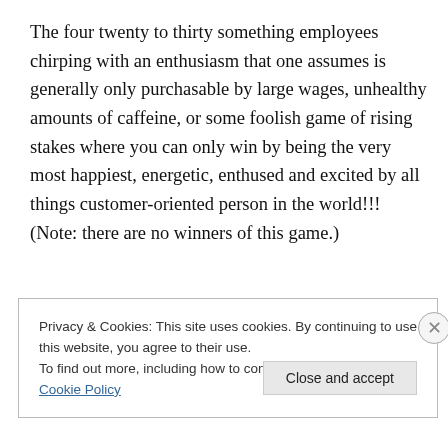The four twenty to thirty something employees chirping with an enthusiasm that one assumes is generally only purchasable by large wages, unhealthy amounts of caffeine, or some foolish game of rising stakes where you can only win by being the very most happiest, energetic, enthused and excited by all things customer-oriented person in the world!!! (Note: there are no winners of this game.)
Privacy & Cookies: This site uses cookies. By continuing to use this website, you agree to their use. To find out more, including how to control cookies, see here: Cookie Policy